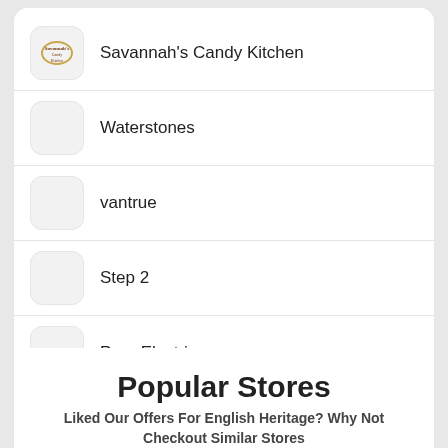Savannah's Candy Kitchen
Waterstones
vantrue
Step 2
Pure Electric
Popular Stores
Liked Our Offers For English Heritage? Why Not Checkout Similar Stores